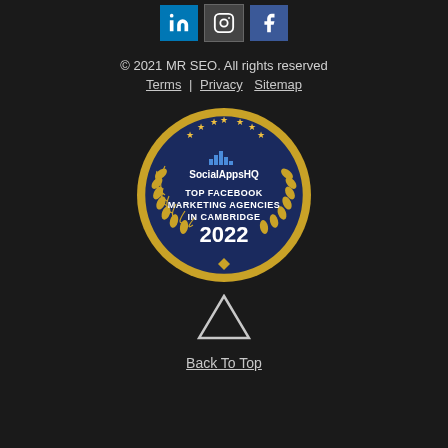[Figure (illustration): Three social media icons in a row: LinkedIn (blue background), Instagram (dark background), Facebook (blue background)]
© 2021 MR SEO. All rights reserved
Terms | Privacy | Sitemap
[Figure (logo): SocialAppsHQ award badge - dark navy circular badge with gold laurel wreath border, gold stars at top, text reading 'TOP FACEBOOK MARKETING AGENCIES IN CAMBRIDGE 2022']
Back To Top